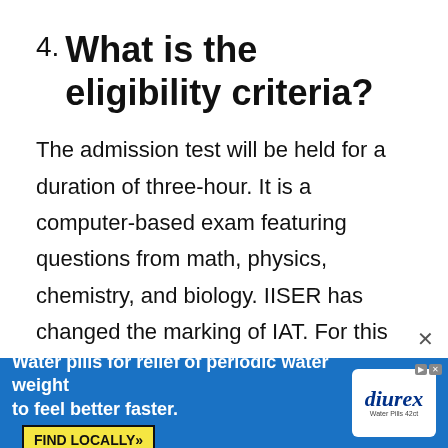4. What is the eligibility criteria?
The admission test will be held for a duration of three-hour. It is a computer-based exam featuring questions from math, physics, chemistry, and biology. IISER has changed the marking of IAT. For this year, students will receive three marks for each correct response, while ×
[Figure (other): Advertisement banner for Diurex water pills: 'Water pills for relief of periodic water weight to feel better faster. FIND LOCALLY»' with Diurex logo on right side.]